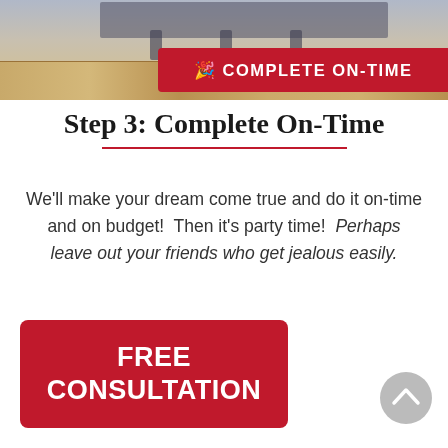[Figure (photo): Interior photo of a room with light hardwood flooring and furniture in the background, overlaid with a red banner reading 'COMPLETE ON-TIME' with a party popper icon]
Step 3: Complete On-Time
We'll make your dream come true and do it on-time and on budget!  Then it's party time!  Perhaps leave out your friends who get jealous easily.
FREE CONSULTATION
[Figure (other): Back to top arrow button, grey circle with upward chevron]